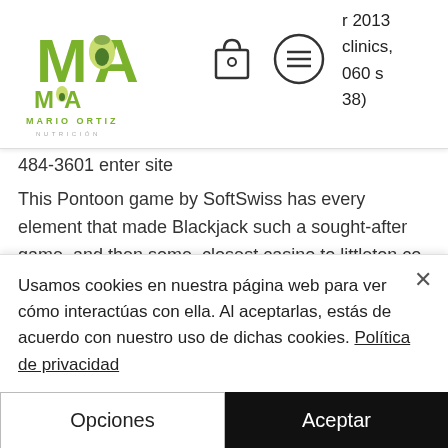[Figure (logo): Mario Ortiz Nutricion logo with green M and avocado icon]
r 2013 clinics, 060 s 38)
484-3601 enter site
This Pontoon game by SoftSwiss has every element that made Blackjack such a sought-after game, and then some, closest casino to littleton co.
Dive into the jungle and find a legendary treasure with the help of a wagon and your skills as a player. Will you be able to find treasure in these rollers, atlanta casinos.
Join the Vikings to sail the seas in search of new conquests and relive your experience
Usamos cookies en nuestra página web para ver cómo interactúas con ella. Al aceptarlas, estás de acuerdo con nuestro uso de dichas cookies. Política de privacidad
Opciones
Aceptar